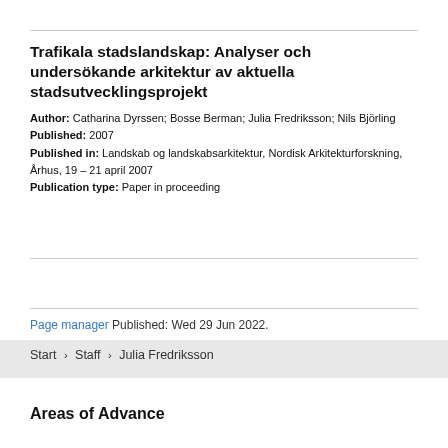Trafikala stadslandskap: Analyser och undersökande arkitektur av aktuella stadsutvecklingsprojekt
Author: Catharina Dyrssen; Bosse Berman; Julia Fredriksson; Nils Björling
Published: 2007
Published in: Landskab og landskabsarkitektur, Nordisk Arkitekturforskning, Århus, 19 – 21 april 2007
Publication type: Paper in proceeding
Go to Chalmers publication library
Page manager Published: Wed 29 Jun 2022.
Start > Staff > Julia Fredriksson
Areas of Advance